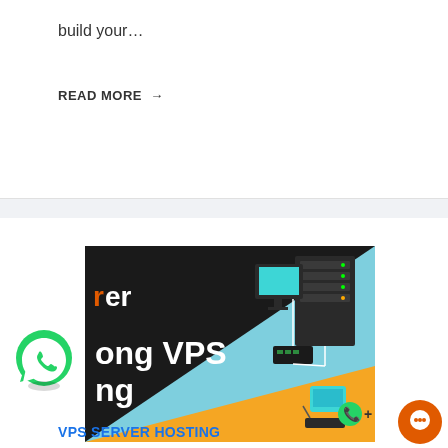build your…
READ MORE →
[Figure (illustration): VPS Server Hosting promotional banner with dark and teal background, showing server rack, desktop computer, networking equipment in isometric style. Text visible: 'er', 'ong VPS', 'ng'. Orange and teal colored sections with white network lines.]
VPS SERVER HOSTING